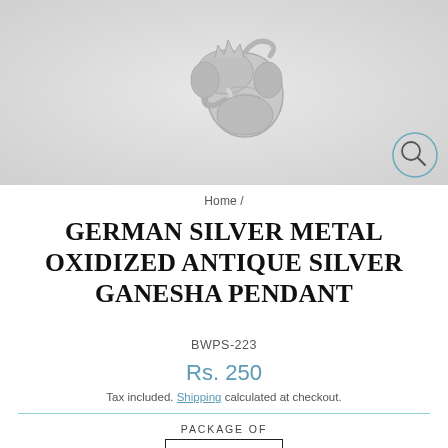[Figure (photo): Close-up photo of a German silver metal oxidized antique Ganesha pendant on a light gray/white background, with a magnifying glass search icon in the top right corner]
Home /
GERMAN SILVER METAL OXIDIZED ANTIQUE SILVER GANESHA PENDANT
BWPS-223
Rs. 250
Tax included. Shipping calculated at checkout.
PACKAGE OF
5 Pieces